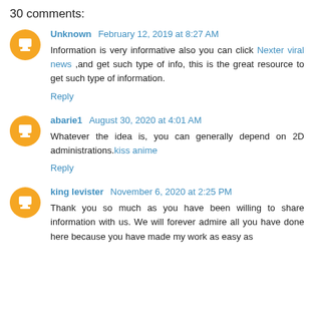30 comments:
Unknown February 12, 2019 at 8:27 AM
Information is very informative also you can click Nexter viral news ,and get such type of info, this is the great resource to get such type of information.
Reply
abarie1 August 30, 2020 at 4:01 AM
Whatever the idea is, you can generally depend on 2D administrations.kiss anime
Reply
king levister November 6, 2020 at 2:25 PM
Thank you so much as you have been willing to share information with us. We will forever admire all you have done here because you have made my work as easy as